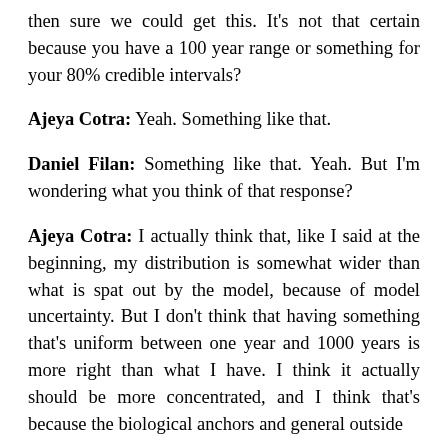then sure we could get this. It's not that certain because you have a 100 year range or something for your 80% credible intervals?
Ajeya Cotra: Yeah. Something like that.
Daniel Filan: Something like that. Yeah. But I'm wondering what you think of that response?
Ajeya Cotra: I actually think that, like I said at the beginning, my distribution is somewhat wider than what is spat out by the model, because of model uncertainty. But I don't think that having something that's uniform between one year and 1000 years is more right than what I have. I think it actually should be more concentrated, and I think that's because the biological anchors and general outside